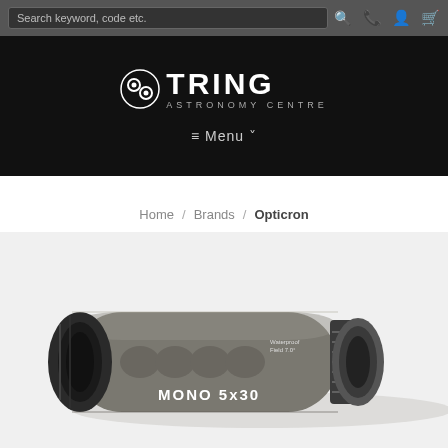Search keyword, code etc.
[Figure (logo): Tring Astronomy Centre logo — circular lens icon beside bold TRING text with ASTRONOMY CENTRE subtitle, white on black background]
≡ Menu ˅
Home / Brands / Opticron
[Figure (photo): Opticron Mono 5x30 monocular — dark olive/grey rubberised body with finger grooves, black eyepiece end, adjustable focus ring, and MONO 5x30 text label visible on side]